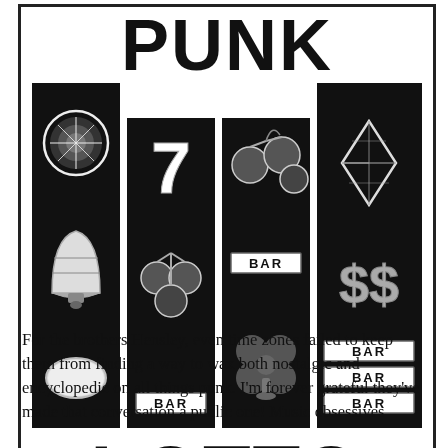PUNK LOTTO
[Figure (illustration): Slot machine reels graphic showing: column 1 (orange/lemon/bell), column 2 (seven/cherries/BAR), column 3 (cherries/BAR/clover), column 4 (diamond/dollar sign/BAR BAR BAR) - black and white casino slot machine symbols]
For the brothers Hensley, even time zones failed to keep them from finding a way to wax both nostalgic and encyclopedic on all things punk. I'm forever grateful they've made that conversation a public one! Music obsessives